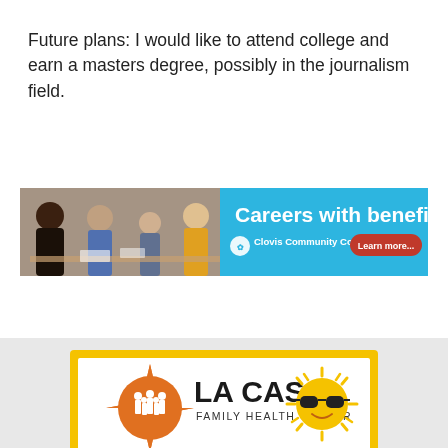Future plans: I would like to attend college and earn a masters degree, possibly in the journalism field.
[Figure (infographic): Clovis Community College advertisement banner: photo of people at a table on the left, blue background on the right with white bold text 'Careers with benefits!', Clovis Community College logo and name, and a red pill-shaped button saying 'Learn more...']
[Figure (logo): La Casa Family Health Center advertisement with yellow border on white background, showing the La Casa logo (orange starburst with family figures), the text 'LA CASA' in large black letters and 'FAMILY HEALTH CENTER' below, alongside a cartoon sun wearing sunglasses, with a yellow banner at the bottom partially showing 'Summer Wellness Campaign']